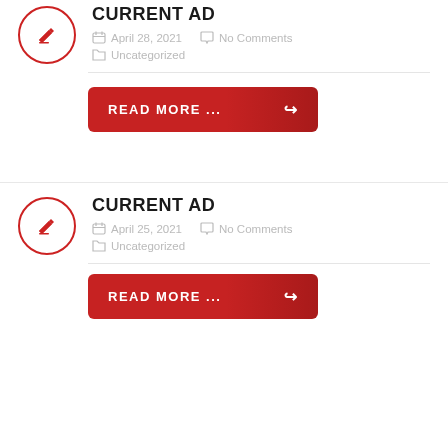CURRENT AD
April 28, 2021   No Comments
Uncategorized
READ MORE ...
CURRENT AD
April 25, 2021   No Comments
Uncategorized
READ MORE ...